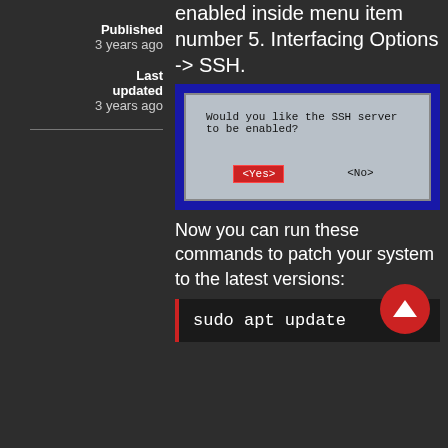enabled inside menu item number 5. Interfacing Options -> SSH.
Published
3 years ago
Last updated
3 years ago
[Figure (screenshot): Terminal/dialog screenshot asking 'Would you like the SSH server to be enabled?' with <Yes> button highlighted in red and <No> button.]
Now you can run these commands to patch your system to the latest versions:
sudo apt update